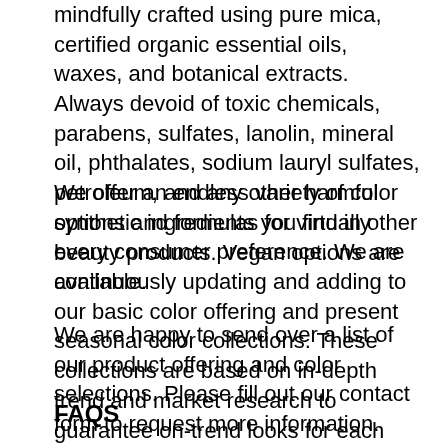mindfully crafted using pure mica, certified organic essential oils, waxes, and botanical extracts. Always devoid of toxic chemicals, parabens, sulfates, lanolin, mineral oil, phthalates, sodium lauryl sulfates, petroleum, and any other harmful synthetic ingredients you find in other beauty products. Vegan options are available.
We offer an endless variety of color options and formulas for virtually every consumer preference. We are continuously updating and adding to our basic color offering and present seasonal color collections. These collections are based on in-depth trend and market research to guarantee on-trend looks for each season.
We are happy to send over a list of our product offering and color selections. Please fill out our contact form to request more information.
FAQS